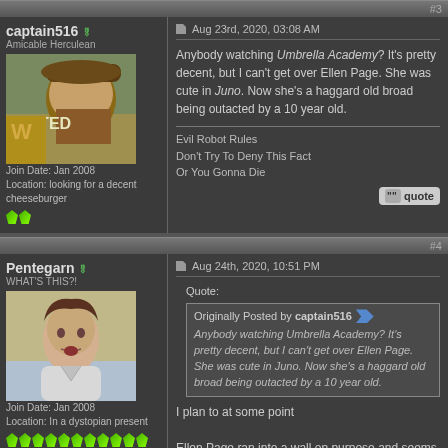#3
captain516
Amicable Herculean
Join Date: Jan 2008
Location: looking for a decent cheeseburger
Aug 23rd, 2020, 03:08 AM
Anybody watching Umbrella Academy? It's pretty decent, but I can't get over Ellen Page. She was cute in Juno. Now she's a haggard old broad being outacted by a 10 year old.
Evil Robot Rules
Don't Try To Deny This Fact
Or You Gonna Die
#4
Pentegarn
WHAT'S THIS?!
Join Date: Jan 2008
Location: In a dystopian present
Aug 24th, 2020, 10:51 PM
Quote:
Originally Posted by captain516
Anybody watching Umbrella Academy? It's pretty decent, but I can't get over Ellen Page. She was cute in Juno. Now she's a haggard old broad being outacted by a 10 year old.
I plan to at some point
Ellen Page ran into a wall on purpose and seems proud that she did so. I call it the Garafalo Effect
"All men are mortal. Socrates was mortal. Therefore, all men are Socrates."